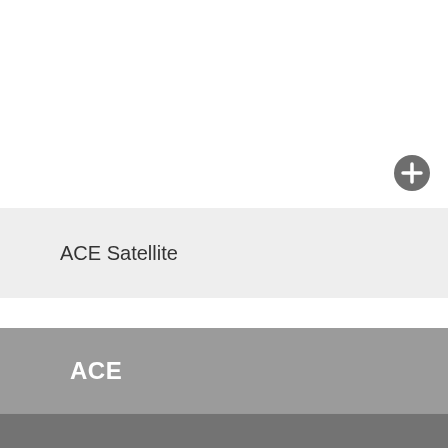[Figure (other): Circular plus/add button icon in dark gray]
ACE Satellite
ACE
Chandra
CLUSTER II
CONICA (NACO)
eROSITA
EUCLID